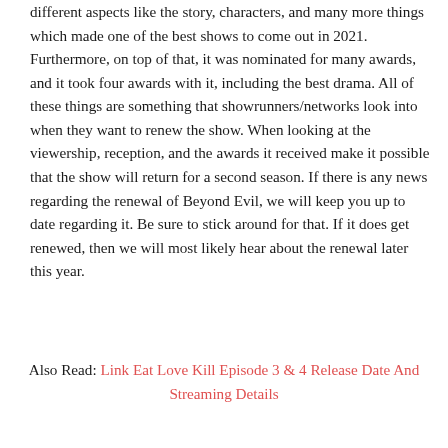different aspects like the story, characters, and many more things which made one of the best shows to come out in 2021. Furthermore, on top of that, it was nominated for many awards, and it took four awards with it, including the best drama. All of these things are something that showrunners/networks look into when they want to renew the show. When looking at the viewership, reception, and the awards it received make it possible that the show will return for a second season. If there is any news regarding the renewal of Beyond Evil, we will keep you up to date regarding it. Be sure to stick around for that. If it does get renewed, then we will most likely hear about the renewal later this year.
Also Read: Link Eat Love Kill Episode 3 & 4 Release Date And Streaming Details